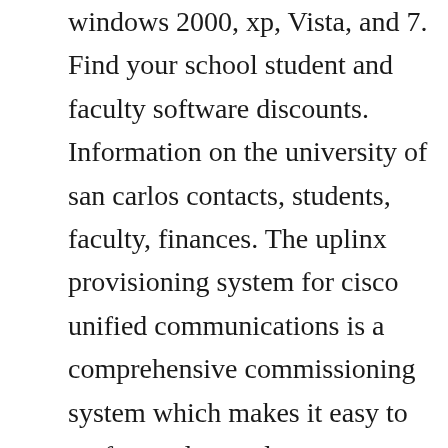windows 2000, xp, Vista, and 7. Find your school student and faculty software discounts. Information on the university of san carlos contacts, students, faculty, finances. The uplinx provisioning system for cisco unified communications is a comprehensive commissioning system which makes it easy to perform advanced commissioning tasks for end users in no time. Click here to open the admin user guidethis may also be accessed directly from the admin portal by clicking the user guide link. Small to medium sized process facilities with a small centralized